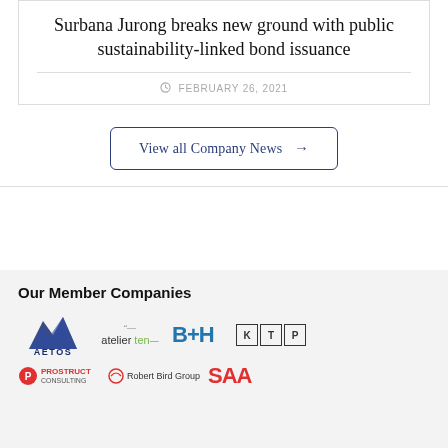Surbana Jurong breaks new ground with public sustainability-linked bond issuance
FEBRUARY 26, 2021
View all Company News →
Our Member Companies
[Figure (logo): Logos of member companies: AETOS, atelier ten, B+H, KTP, Prostruct Consulting, Robert Bird Group, SAA]